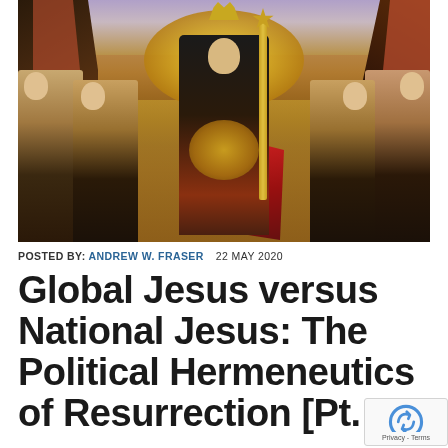[Figure (illustration): Religious painting depicting a crowned Christ figure in the center holding an orb, surrounded by angels or saints on either side, in a medieval Flemish style with gold background]
POSTED BY: ANDREW W. FRASER   22 MAY 2020
Global Jesus versus National Jesus: The Political Hermeneutics of Resurrection [Pt. II]